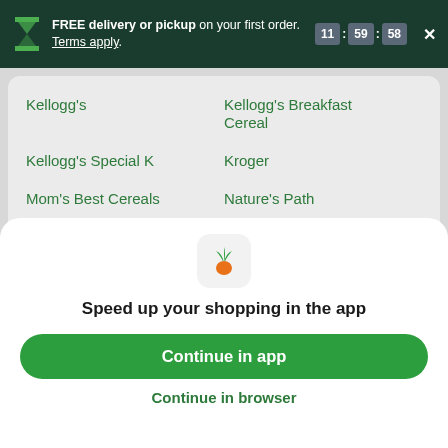FREE delivery or pickup on your first order. Terms apply. 11 : 59 : 58
Kellogg's
Kellogg's Breakfast Cereal
Kellogg's Special K
Kroger
Mom's Best Cereals
Nature's Path
Nature's Path EnviroKidz
One Degree Organic Foods
Post
Quaker
[Figure (logo): Instacart carrot app icon — green carrot leaves on white/light background with orange carrot body]
Speed up your shopping in the app
Continue in app
Continue in browser